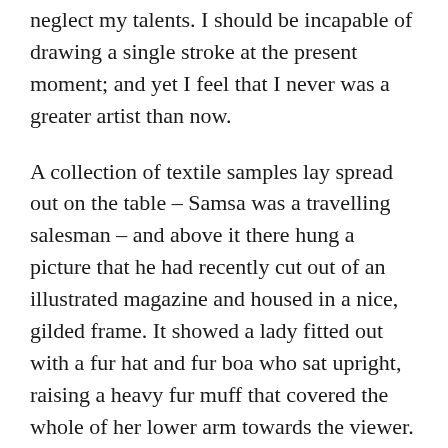neglect my talents. I should be incapable of drawing a single stroke at the present moment; and yet I feel that I never was a greater artist than now.
A collection of textile samples lay spread out on the table – Samsa was a travelling salesman – and above it there hung a picture that he had recently cut out of an illustrated magazine and housed in a nice, gilded frame. It showed a lady fitted out with a fur hat and fur boa who sat upright, raising a heavy fur muff that covered the whole of her lower arm towards the viewer.
Even the all-powerful Pointing has no control about the blind texts it is an almost unorthographic life One day however a small line of blind text by the name of Lorem Ipsum decided